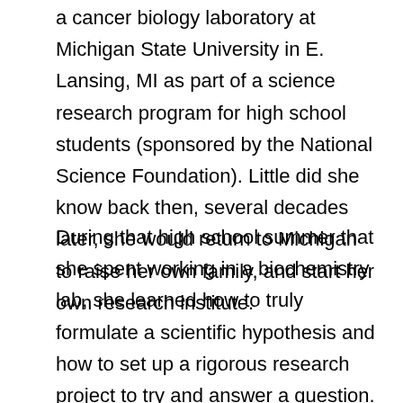a cancer biology laboratory at Michigan State University in E. Lansing, MI as part of a science research program for high school students (sponsored by the National Science Foundation). Little did she know back then, several decades later, she would return to Michigan to raise her own family, and start her own research institute.
During that high school summer that she spent working in a biochemistry lab, she learned how to truly formulate a scientific hypothesis and how to set up a rigorous research project to try and answer a question. The outcome of her summer science project provided new insights into the